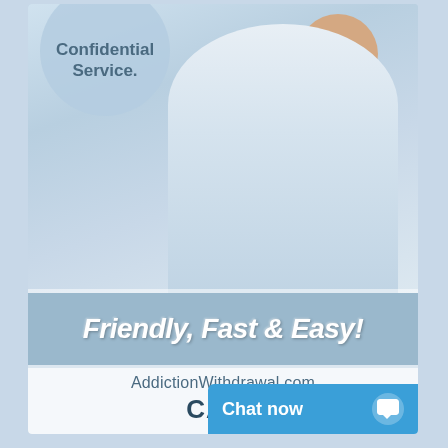[Figure (photo): Advertisement for AddictionWithdrawal.com showing a woman with a headset wearing a white shirt with arms crossed, a circle badge reading 'Confidential Service.', text 'Friendly, Fast & Easy!', website 'AddictionWithdrawal.com', 'CALL' text, and a 'Chat now' button overlay]
Confidential Service.
Friendly, Fast & Easy!
AddictionWithdrawal.com
CALL
Chat now